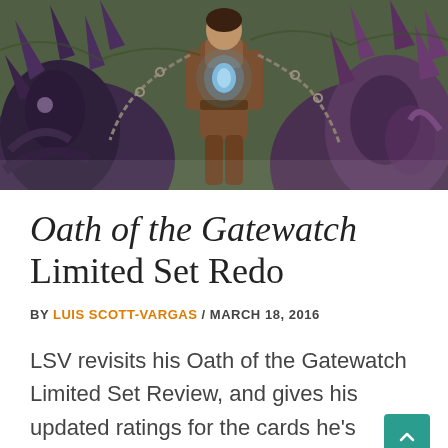[Figure (illustration): Fantasy illustration showing a figure with chains standing among large creature-like beings with dark purple and grey coloring, glowing blue crystal visible]
Oath of the Gatewatch Limited Set Redo
BY LUIS SCOTT-VARGAS / MARCH 18, 2016
LSV revisits his Oath of the Gatewatch Limited Set Review, and gives his updated ratings for the cards he’s changed his tune on!